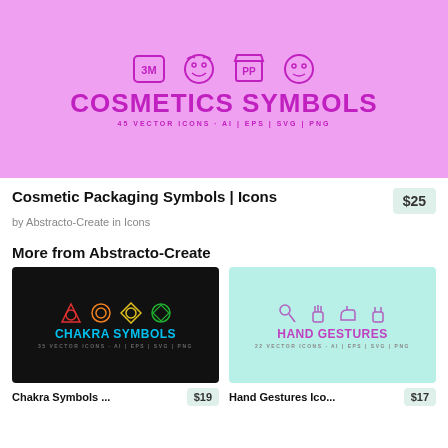[Figure (illustration): Pink/magenta background with cosmetic packaging icons (3M, face, PP, recycle) and text 'COSMETICS SYMBOLS' with '45 VECTOR ICONS · AI | EPS | SVG | PNG']
Cosmetic Packaging Symbols | Icons
$25
by Abstracto-Create in Icons
More from Abstracto-Create
[Figure (illustration): Black background with four chakra symbols in red, orange, yellow, green and text 'CHAKRA SYMBOLS' in cyan]
[Figure (illustration): Mint/teal background with hand gesture icons in purple and text 'HAND GESTURES' in magenta]
Chakra Symbols ...
$19
Hand Gestures Ico...
$17